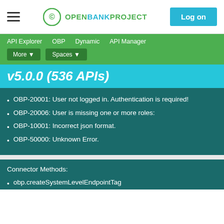OPENBANKPROJECT | Log on
API Explorer   OBP   Dynamic   API Manager   More ▾   Spaces ▾
v5.0.0 (536 APIs)
OBP-20001: User not logged in. Authentication is required!
OBP-20006: User is missing one or more roles:
OBP-10001: Incorrect json format.
OBP-50000: Unknown Error.
Connector Methods:
obp.createSystemLevelEndpointTag